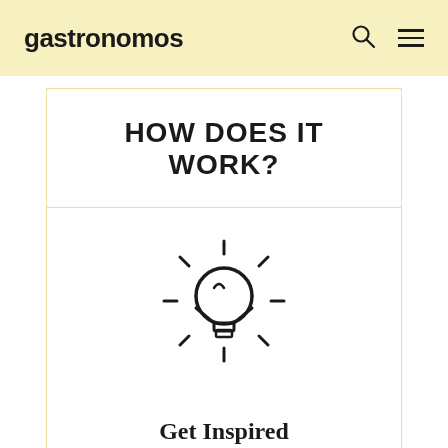gastronomos
HOW DOES IT WORK?
[Figure (illustration): Light bulb icon with rays indicating inspiration]
Get Inspired
Immerse yourself in our